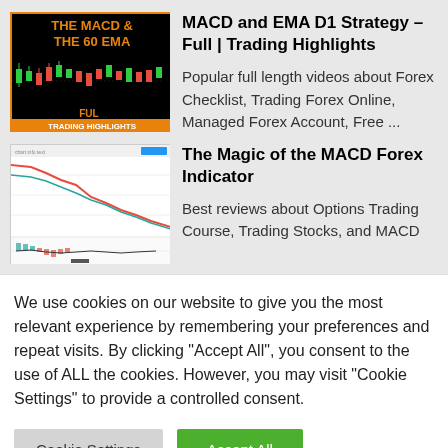[Figure (screenshot): Thumbnail image with black background and orange border showing 'THE MACD & THE 60 EMA' text in orange, with 'FULL' and 'TRADING HIGHLIGHTS' text, and a candlestick chart graphic]
MACD and EMA D1 Strategy – Full | Trading Highlights
Popular full length videos about Forex Checklist, Trading Forex Online, Managed Forex Account, Free ...
[Figure (screenshot): Thumbnail image showing a forex line chart with red downtrend line on white background, with MACD indicator below]
The Magic of the MACD Forex Indicator
Best reviews about Options Trading Course, Trading Stocks, and MACD Trading Course, and Indicator...
We use cookies on our website to give you the most relevant experience by remembering your preferences and repeat visits. By clicking "Accept All", you consent to the use of ALL the cookies. However, you may visit "Cookie Settings" to provide a controlled consent.
Cookie Settings
Accept All